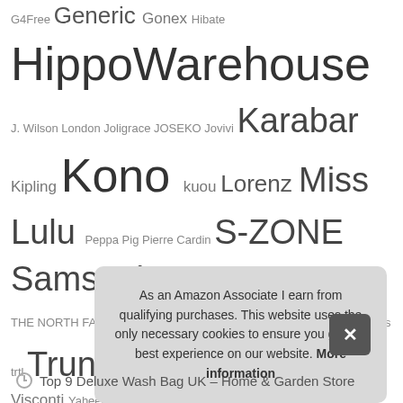G4Free Generic Gonex Hibate HippoWarehouse J. Wilson London Joligrace JOSEKO Jovivi Karabar Kipling Kono kuou Lorenz Miss Lulu Peppa Pig Pierre Cardin S-ZONE Samsonite Slimbridge STARHIDE THE NORTH FACE Tommy Hilfiger TRAVANDO Trespass trtl Trunki Under Armour VASCHY Visconti Yaheetech
Recent Posts
Top 10 Granny Gifts from Grandchildren UK – Women's Keyrings & Keychains
T...
T...
T...
As an Amazon Associate I earn from qualifying purchases. This website uses the only necessary cookies to ensure you get the best experience on our website. More information
Top 9 Deluxe Wash Bag UK – Home & Garden Store